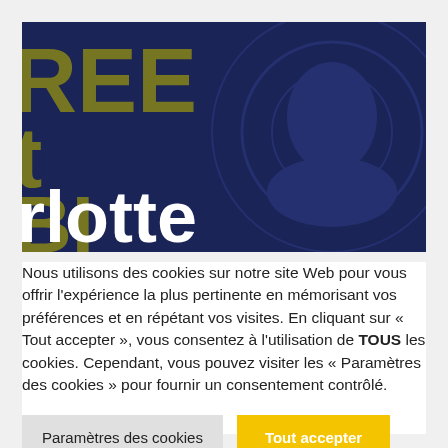[Figure (illustration): Dark navy blue banner with large gold/olive letters partially visible (REE, t, lotte, BI) and white bold text overlay showing partial words 't' and 'rlotte', with decorative background pattern]
Nous utilisons des cookies sur notre site Web pour vous offrir l'expérience la plus pertinente en mémorisant vos préférences et en répétant vos visites. En cliquant sur « Tout accepter », vous consentez à l'utilisation de TOUS les cookies. Cependant, vous pouvez visiter les « Paramètres des cookies » pour fournir un consentement contrôlé.
Paramètres des cookies
Tout accepter